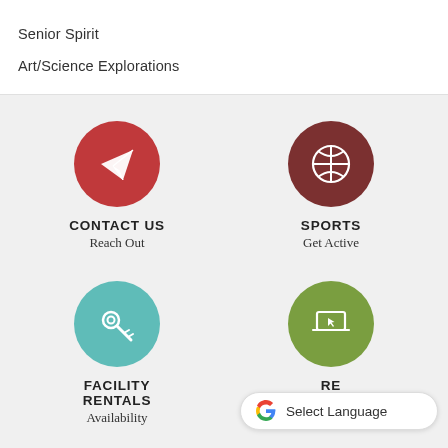Senior Spirit
Art/Science Explorations
[Figure (infographic): Red circle icon with paper airplane symbol, labeled CONTACT US / Reach Out]
[Figure (infographic): Dark red circle icon with basketball symbol, labeled SPORTS / Get Active]
[Figure (infographic): Teal circle icon with keys symbol, labeled FACILITY RENTALS / Availability]
[Figure (infographic): Green circle icon with laptop/cursor symbol, labeled RE... / Sign Up Online]
Select Language